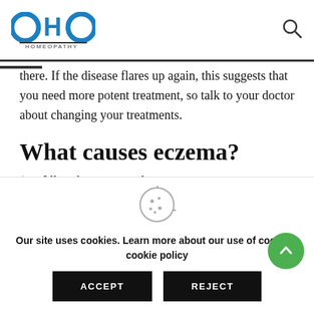OHO HOMEOPATHY
there. If the disease flares up again, this suggests that you need more potent treatment, so talk to your doctor about changing your treatments.
What causes eczema?
1. Allergies can make eczema worse
Allergens such as dust mites, animal hair, and house dust
Our site uses cookies. Learn more about our use of cookies: cookie policy